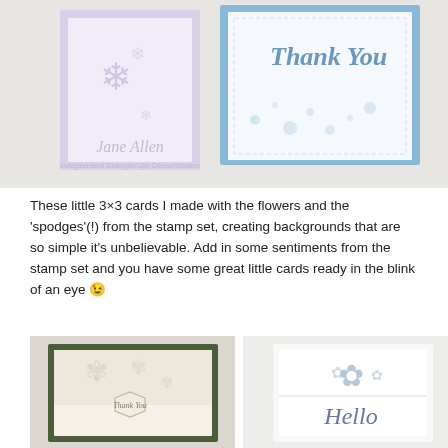[Figure (photo): Photo of handmade 3x3 greeting cards - a lavender/purple card with snowflake design and a blue 'Thank You' card with spodge background, watermarked 'Jane Allen Independent Stampin Up! Demonstrator']
These little 3×3 cards I made with the flowers and the 'spodges'(!) from the stamp set, creating backgrounds that are so simple it's unbelievable. Add in some sentiments from the stamp set and you have some great little cards ready in the blink of an eye 😉
[Figure (photo): Photo of a dark green-bordered handmade card with a hexagon label reading 'Thank You' on a floral/lace patterned background]
[Figure (photo): Photo of a white handmade card with a blue floral stamp and 'Hello' in script lettering]